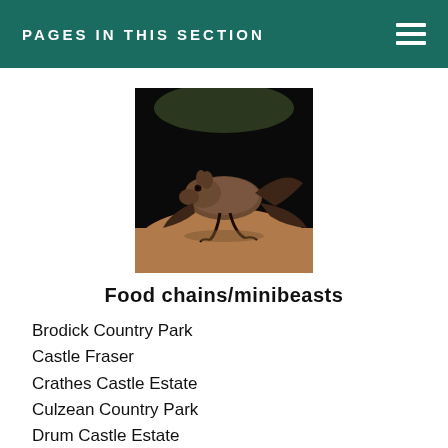PAGES IN THIS SECTION
[Figure (photo): A small brown bat lying on a sandy/rocky surface, photographed close up against a dark background.]
Food chains/minibeasts
Brodick Country Park
Castle Fraser
Crathes Castle Estate
Culzean Country Park
Drum Castle Estate
Greenbank Garden
Haddo Country Park